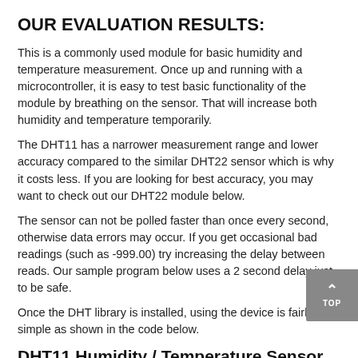OUR EVALUATION RESULTS:
This is a commonly used module for basic humidity and temperature measurement.  Once up and running with a microcontroller, it is easy to test basic functionality of the module by breathing on the sensor.  That will increase both humidity and temperature temporarily.
The DHT11 has a narrower measurement range and lower accuracy compared to the similar DHT22 sensor which is why it costs less. If you are looking for best accuracy, you may want to check out our DHT22 module below.
The sensor can not be polled faster than once every second, otherwise data errors may occur.  If you get occasional bad readings (such as -999.00) try increasing the delay between reads.  Our sample program below uses a 2 second delay just to be safe.
Once the DHT library is installed, using the device is fairly simple as shown in the code below.
DHT11 Humidity / Temperature Sensor